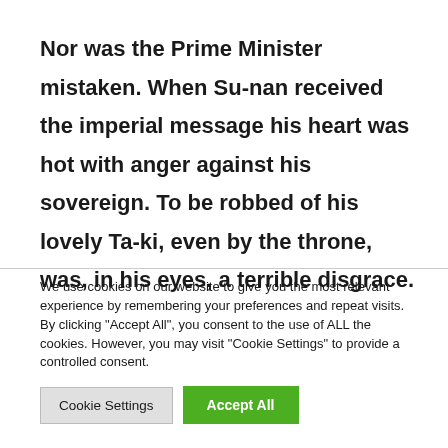Nor was the Prime Minister mistaken. When Su-nan received the imperial message his heart was hot with anger against his sovereign. To be robbed of his lovely Ta-ki, even by the throne, was, in his eyes, a terrible disgrace.
We use cookies on our website to give you the most relevant experience by remembering your preferences and repeat visits. By clicking "Accept All", you consent to the use of ALL the cookies. However, you may visit "Cookie Settings" to provide a controlled consent.